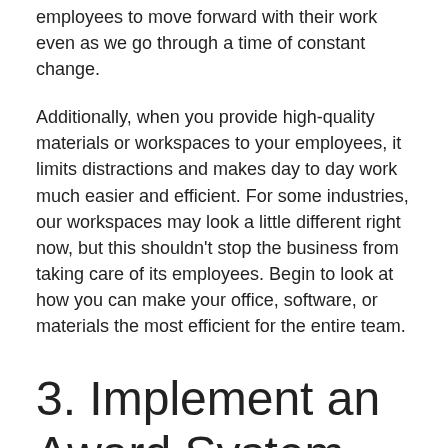employees to move forward with their work even as we go through a time of constant change.
Additionally, when you provide high-quality materials or workspaces to your employees, it limits distractions and makes day to day work much easier and efficient. For some industries, our workspaces may look a little different right now, but this shouldn't stop the business from taking care of its employees. Begin to look at how you can make your office, software, or materials the most efficient for the entire team.
3. Implement an Award System